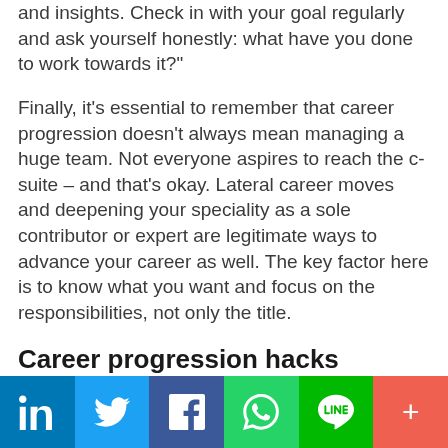and insights. Check in with your goal regularly and ask yourself honestly: what have you done to work towards it?”
Finally, it’s essential to remember that career progression doesn’t always mean managing a huge team. Not everyone aspires to reach the c-suite – and that’s okay. Lateral career moves and deepening your speciality as a sole contributor or expert are legitimate ways to advance your career as well. The key factor here is to know what you want and focus on the responsibilities, not only the title.
Career progression hacks
[Figure (infographic): Social sharing bar with buttons for LinkedIn, Twitter, Facebook, WhatsApp, LINE, and a more (+) button]